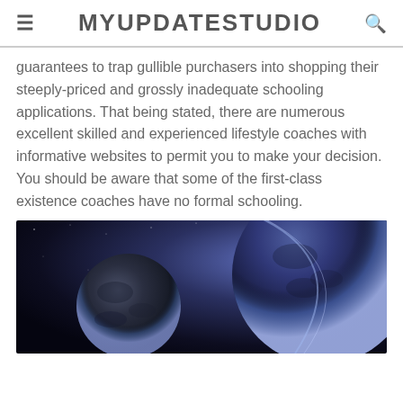MYUPDATESTUDIO
guarantees to trap gullible purchasers into shopping their steeply-priced and grossly inadequate schooling applications. That being stated, there are numerous excellent skilled and experienced lifestyle coaches with informative websites to permit you to make your decision. You should be aware that some of the first-class existence coaches have no formal schooling.
[Figure (photo): Space scene showing two planets or celestial bodies against a dark space background with glowing blue-purple light effects]